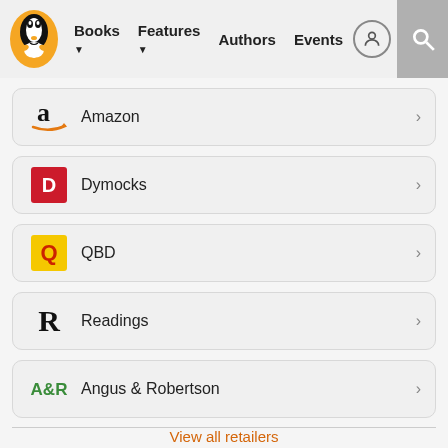Penguin Books | Books | Features | Authors | Events
Amazon
Dymocks
QBD
Readings
Angus & Robertson
View all retailers